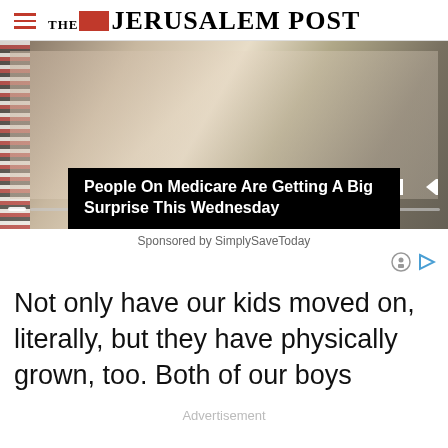THE JERUSALEM POST
[Figure (screenshot): Video advertisement banner showing hands with playing cards, with video controls (previous, pause, next) and progress bar at bottom]
People On Medicare Are Getting A Big Surprise This Wednesday
Sponsored by SimplySaveToday
Not only have our kids moved on, literally, but they have physically grown, too. Both of our boys
Advertisement